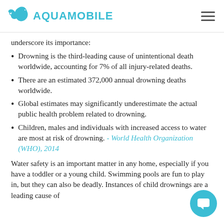AQUAMOBILE
underscore its importance:
Drowning is the third-leading cause of unintentional death worldwide, accounting for 7% of all injury-related deaths.
There are an estimated 372,000 annual drowning deaths worldwide.
Global estimates may significantly underestimate the actual public health problem related to drowning.
Children, males and individuals with increased access to water are most at risk of drowning. - World Health Organization (WHO), 2014
Water safety is an important matter in any home, especially if you have a toddler or a young child. Swimming pools are fun to play in, but they can also be deadly. Instances of child drownings are a leading cause of